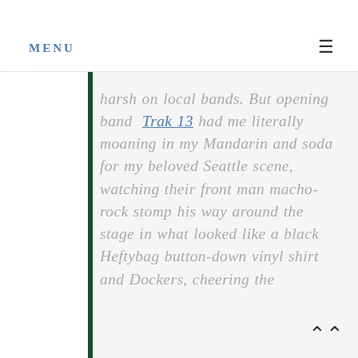MENU
harsh on local bands. But opening band Trak 13 had me literally moaning in my Mandarin and soda for my beloved Seattle scene, watching their front man macho-rock stomp his way around the stage in what looked like a black Heftybag button-down vinyl shirt and Dockers, cheering the